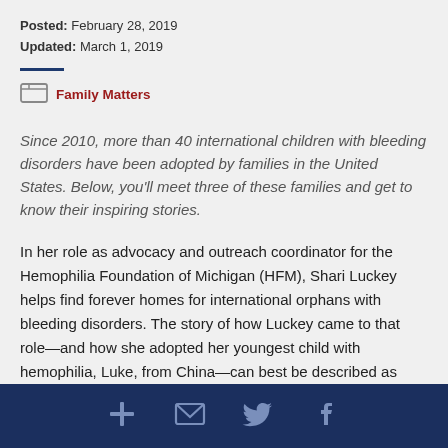Posted: February 28, 2019
Updated: March 1, 2019
Family Matters
Since 2010, more than 40 international children with bleeding disorders have been adopted by families in the United States. Below, you'll meet three of these families and get to know their inspiring stories.
In her role as advocacy and outreach coordinator for the Hemophilia Foundation of Michigan (HFM), Shari Luckey helps find forever homes for international orphans with bleeding disorders. The story of how Luckey came to that role—and how she adopted her youngest child with hemophilia, Luke, from China—can best be described as
Social share icons: add, email, twitter, facebook